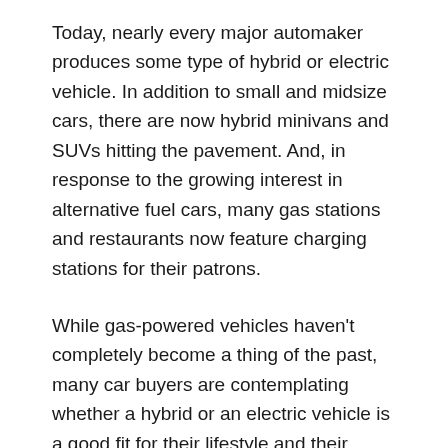Today, nearly every major automaker produces some type of hybrid or electric vehicle. In addition to small and midsize cars, there are now hybrid minivans and SUVs hitting the pavement. And, in response to the growing interest in alternative fuel cars, many gas stations and restaurants now feature charging stations for their patrons.
While gas-powered vehicles haven't completely become a thing of the past, many car buyers are contemplating whether a hybrid or an electric vehicle is a good fit for their lifestyle and their wallet.
Here, we've answered some fundamental questions to help you in your car buying search.